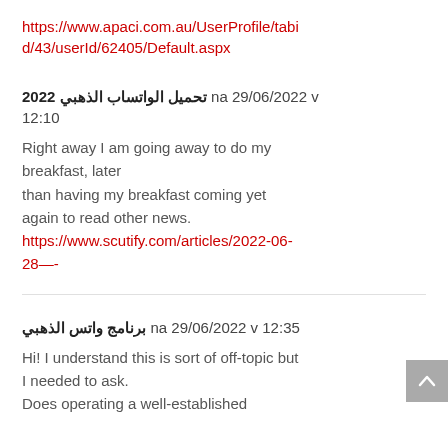https://www.apaci.com.au/UserProfile/tabid/43/userId/62405/Default.aspx
تحميل الواتساب الذهبي 2022 na 29/06/2022 v 12:10
Right away I am going away to do my breakfast, later than having my breakfast coming yet again to read other news.
https://www.scutify.com/articles/2022-06-28—-
برنامج واتس الذهبي na 29/06/2022 v 12:35
Hi! I understand this is sort of off-topic but I needed to ask.
Does operating a well-established